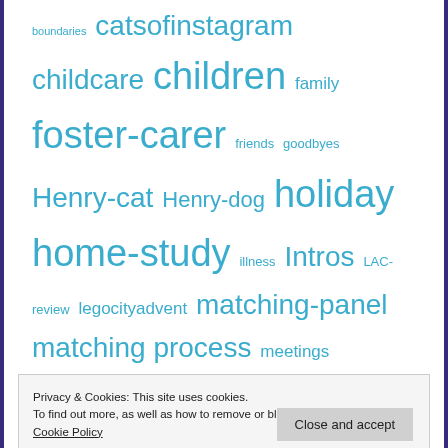[Figure (infographic): Tag cloud of blog/website tags in varying font sizes and cyan/teal color. Tags include: boundaries, catsofinstagram, childcare, children, family, foster-carer, friends, goodbyes, Henry-cat, Henry-dog, holiday, home-study, illness, Intros, LAC-review, legocityadvent, matching-panel, matching process, meetings, movinghouse, NaBloPoMo2014, newhouse, newkitchen, nursery, photos, prep-course, Ricki, safety, school, selfcare, Sqk, taspic, the-boy, thoughts, ukadoptioncommunity, work]
Privacy & Cookies: This site uses cookies. To find out more, as well as how to remove or block these, see here: Our Cookie Policy
Close and accept